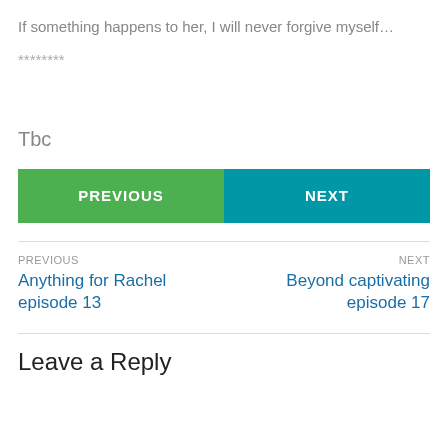If something happens to her, I will never forgive myself…
********
Tbc
PREVIOUS | NEXT
PREVIOUS
Anything for Rachel episode 13
NEXT
Beyond captivating episode 17
Leave a Reply